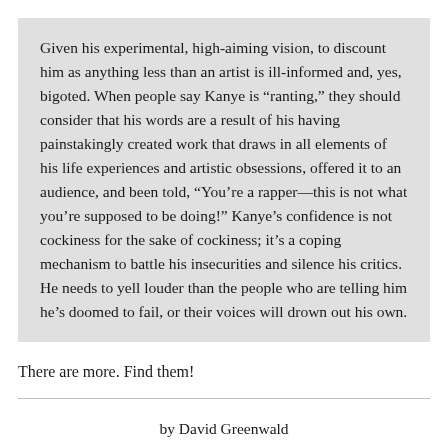Given his experimental, high-aiming vision, to discount him as anything less than an artist is ill-informed and, yes, bigoted. When people say Kanye is “ranting,” they should consider that his words are a result of his having painstakingly created work that draws in all elements of his life experiences and artistic obsessions, offered it to an audience, and been told, “You’re a rapper—this is not what you’re supposed to be doing!” Kanye’s confidence is not cockiness for the sake of cockiness; it’s a coping mechanism to battle his insecurities and silence his critics. He needs to yell louder than the people who are telling him he’s doomed to fail, or their voices will drown out his own.
There are more. Find them!
by David Greenwald
7:16 pm; April 4, 2014